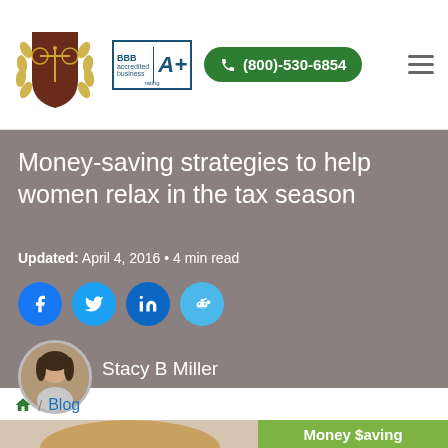[Figure (logo): Shield/scales of justice logo with laurel wreath in brown and gold]
[Figure (logo): BBB A+ rating badge in blue]
[Figure (other): Green phone button with (800)-530-6854]
Money-saving strategies to help women relax in the tax season
Updated: April 4, 2016 • 4 min read
[Figure (other): Social media share icons: Facebook, Twitter, LinkedIn, Reddit]
[Figure (photo): Author photo of Stacy B Miller - circular avatar]
Stacy B Miller
/ Blog
[Figure (photo): Bottom partial image of woman with blonde hair and green Money Saving text box]